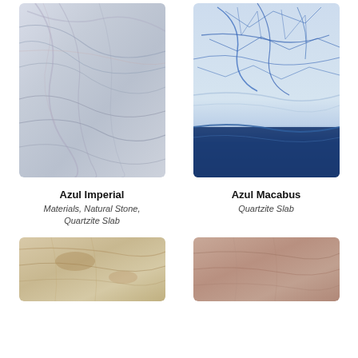[Figure (photo): Azul Imperial quartzite slab photo showing blue-grey wavy veining patterns on light stone surface]
[Figure (photo): Azul Macabus quartzite slab photo showing blue veining network on white stone with dark blue band at bottom]
Azul Imperial
Materials, Natural Stone, Quartzite Slab
Azul Macabus
Quartzite Slab
[Figure (photo): Beige/cream quartzite slab with brownish veining]
[Figure (photo): Pinkish-brown quartzite slab with subtle veining]